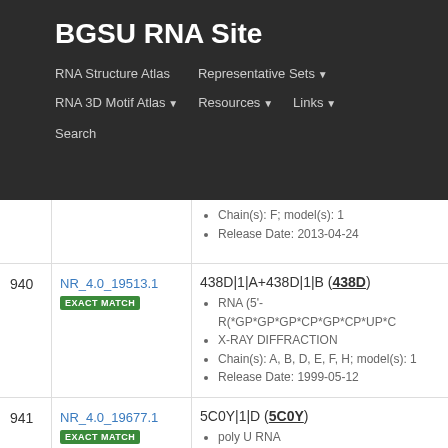BGSU RNA Site
RNA Structure Atlas | Representative Sets | RNA 3D Motif Atlas | Resources | Links | Search
Chain(s): F; model(s): 1
Release Date: 2013-04-24
940
NR_4.0_19513.1 EXACT MATCH
438D|1|A+438D|1|B (438D)
• RNA (5'-R(*GP*GP*GP*CP*GP*CP*UP*C
• X-RAY DIFFRACTION
• Chain(s): A, B, D, E, F, H; model(s): 1
• Release Date: 1999-05-12
941
NR_4.0_19677.1 EXACT MATCH synthetic construct
5C0Y|1|D (5C0Y)
• poly U RNA
• X-RAY DIFFRACTION
• Chain(s): D; model(s): 1
• Release Date: 2015-08-05